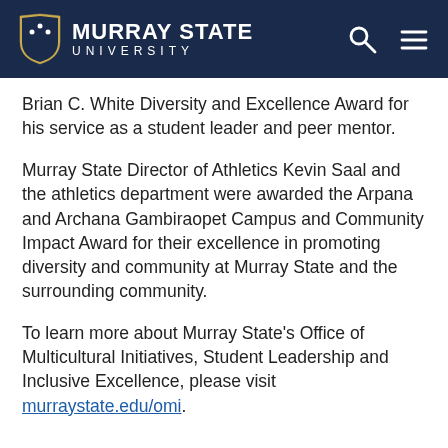MURRAY STATE UNIVERSITY
Brian C. White Diversity and Excellence Award for his service as a student leader and peer mentor.
Murray State Director of Athletics Kevin Saal and the athletics department were awarded the Arpana and Archana Gambiraopet Campus and Community Impact Award for their excellence in promoting diversity and community at Murray State and the surrounding community.
To learn more about Murray State's Office of Multicultural Initiatives, Student Leadership and Inclusive Excellence, please visit murraystate.edu/omi.